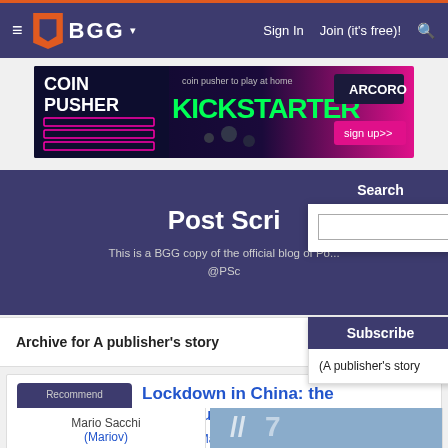≡  BGG  ▾   Sign In   Join (it's free)!  🔍
[Figure (screenshot): Advertisement banner for Coin Pusher Kickstarter by Arcoro]
Post Scri
This is a BGG copy of the official blog of Po... @PSc
Search  Go
Archive for A publisher's story
Subscribe
(A publisher's story
Recommend
8 [thumb icon]
1.00 [gear icon] [X icon]
Lockdown in China: the consequences
Posted by Mario Sacchi
A publisher's story
Mario Sacchi
(Mariov)